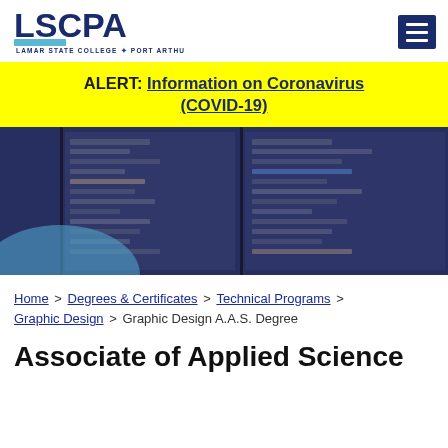LSCPA - LAMAR STATE COLLEGE PORT ARTHUR
ALERT: Information on Coronavirus (COVID-19)
[Figure (screenshot): Hero image showing computer monitors with dark interface/software, blurred background with blue tones and dark panels]
Home > Degrees & Certificates > Technical Programs > Graphic Design > Graphic Design A.A.S. Degree
Associate of Applied Science